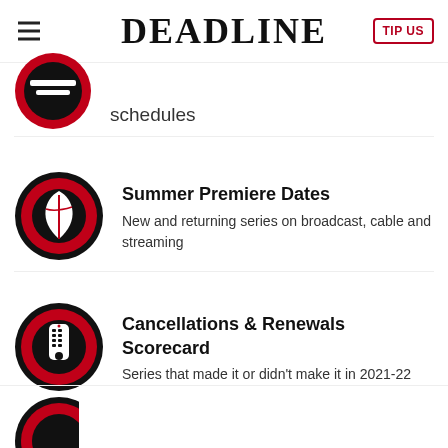DEADLINE
[Figure (logo): Partial circular icon with red ring visible at top]
schedules
[Figure (logo): Red and black circle icon with white leaf design]
Summer Premiere Dates
New and returning series on broadcast, cable and streaming
[Figure (logo): Red and black circle icon with white TV remote control]
Cancellations & Renewals Scorecard
Series that made it or didn't make it in 2021-22
[Figure (logo): Partial circular icon visible at bottom of page]